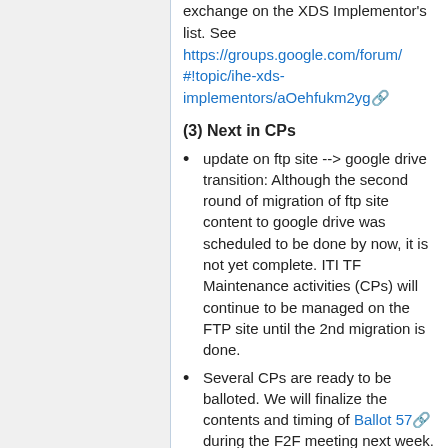exchange on the XDS Implementor's list. See https://groups.google.com/forum/#!topic/ihe-xds-implementors/aOehfukm2yg
(3) Next in CPs
update on ftp site --> google drive transition: Although the second round of migration of ftp site content to google drive was scheduled to be done by now, it is not yet complete. ITI TF Maintenance activities (CPs) will continue to be managed on the FTP site until the 2nd migration is done.
Several CPs are ready to be balloted. We will finalize the contents and timing of Ballot 57 during the F2F meeting next week.
Next regular CP call is the 2nd Thurs